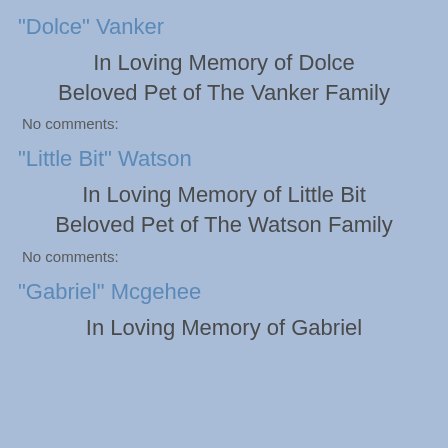"Dolce" Vanker
In Loving Memory of Dolce
Beloved Pet of The Vanker Family
No comments:
"Little Bit" Watson
In Loving Memory of Little Bit
Beloved Pet of The Watson Family
No comments:
"Gabriel" Mcgehee
In Loving Memory of Gabriel